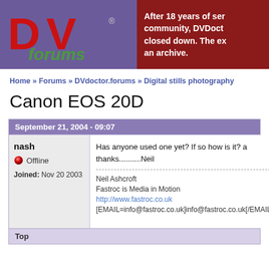[Figure (logo): DVforums logo on purple background with red DV letters and green 'forums' text]
After 18 years of ser community, DVDoct closed down. The ex an archive.
Home » Forums » DVdoctor.forums » Digital stills photography
Canon EOS 20D
September 21, 2004 - 09:07
nash
Offline
Joined: Nov 20 2003
Has anyone used one yet? If so how is it? a thanks..........Neil

Neil Ashcroft
Fastroc is Media in Motion
http://www.fastroc.co.uk
[EMAIL=info@fastroc.co.uk]info@fastroc.co.uk[/EMAIL]
Top